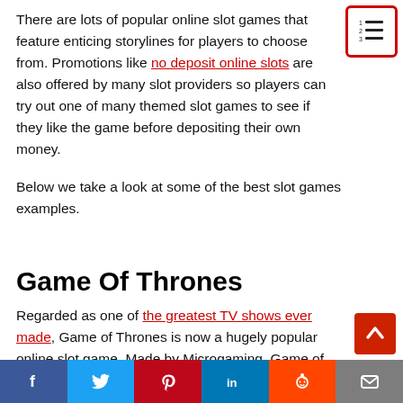There are lots of popular online slot games that feature enticing storylines for players to choose from. Promotions like no deposit online slots are also offered by many slot providers so players can try out one of many themed slot games to see if they like the game before depositing their own money.
Below we take a look at some of the best slot games examples.
Game Of Thrones
Regarded as one of the greatest TV shows ever made, Game of Thrones is now a hugely popular online slot game. Made by Microgaming, Game of Thrones offers five reels and three rows, plus a massive 243 ways to win.
f  t  p  in  reddit  mail